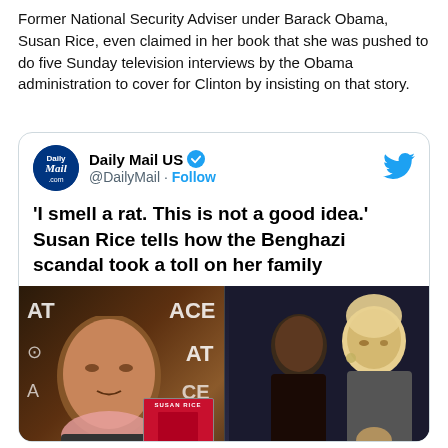Former National Security Adviser under Barack Obama, Susan Rice, even claimed in her book that she was pushed to do five Sunday television interviews by the Obama administration to cover for Clinton by insisting on that story.
[Figure (screenshot): Embedded tweet from @DailyMail (Daily Mail US) with verified badge, showing headline 'I smell a rat. This is not a good idea.' Susan Rice tells how the Benghazi scandal took a toll on her family, with a two-panel photo: left shows Susan Rice in a TV interview setting, right shows two women in conversation.]